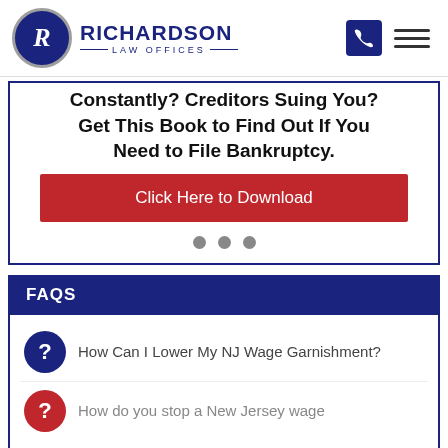[Figure (logo): Richardson Law Offices logo with circular emblem and text]
Constantly? Creditors Suing You? Get This Book to Find Out If You Need to File Bankruptcy.
Click Here to Download
FAQS
How Can I Lower My NJ Wage Garnishment?
How do you stop a New Jersey wage